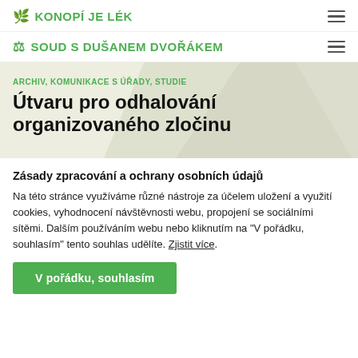🌿 KONOPÍ JE LÉK
⚖ SOUD S DUŠANEM DVOŘÁKEM
[Figure (illustration): Light green/beige hero background with abstract shapes]
ARCHIV, KOMUNIKACE S ÚŘADY, STUDIE
Útvaru pro odhalování organizovaného zločinu
Zásady zpracování a ochrany osobních údajů
Na této stránce využíváme různé nástroje za účelem uložení a využití cookies, vyhodnocení návštěvnosti webu, propojení se sociálními sítěmi. Dalším používáním webu nebo kliknutím na "V pořádku, souhlasím" tento souhlas udělíte. Zjistit více.
V pořádku, souhlasím